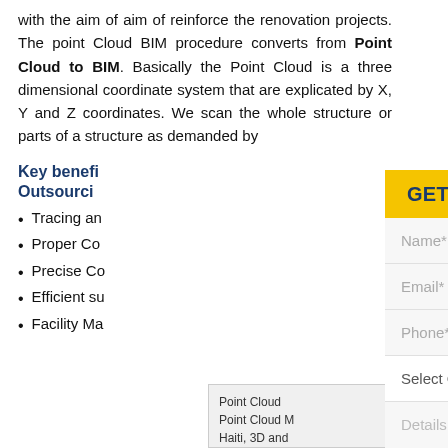with the aim of aim of reinforce the renovation projects. The point Cloud BIM procedure converts from Point Cloud to BIM. Basically the Point Cloud is a three dimensional coordinate system that are explicated by X, Y and Z coordinates. We scan the whole structure or parts of a structure as demanded by
Key benefits of Point Cloud to BIM Outsourcing
Tracing and
Proper Co
Precise Co
Efficient su
Facility Ma
Point Cloud
Point Cloud M
Haiti, 3D and
Outsourcing h
[Figure (screenshot): GET IN TOUCH WITH US contact form overlay panel with fields: Name*, Email*, Phone*, Select Country dropdown, Details textarea]